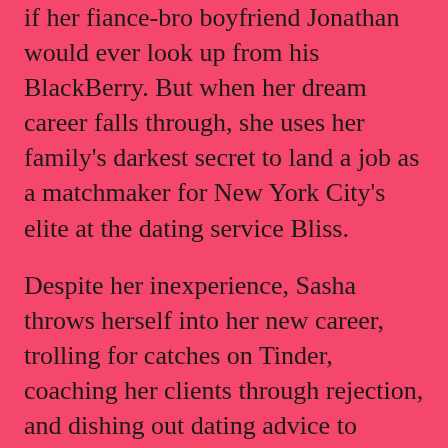if her fiance-bro boyfriend Jonathan would ever look up from his BlackBerry. But when her dream career falls through, she uses her family's darkest secret to land a job as a matchmaker for New York City's elite at the dating service Bliss.
Despite her inexperience, Sasha throws herself into her new career, trolling for catches on Tinder, coaching her clients through rejection, and dishing out dating advice to people twice her age. She sets up a TV exec who wanted kids five years ago, a forty-year-old baseball-loving virgin, and a consultant with a rigorous five-page checklist for her ideal match.
Sasha hopes to find her clients The One,